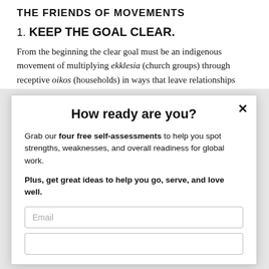THE FRIENDS OF MOVEMENTS
1. KEEP THE GOAL CLEAR.
From the beginning the clear goal must be an indigenous movement of multiplying ekklesia (church groups) through receptive oikos (households) in ways that leave relationships...
How ready are you?
Grab our four free self-assessments to help you spot strengths, weaknesses, and overall readiness for global work.
Plus, get great ideas to help you go, serve, and love well.
Email